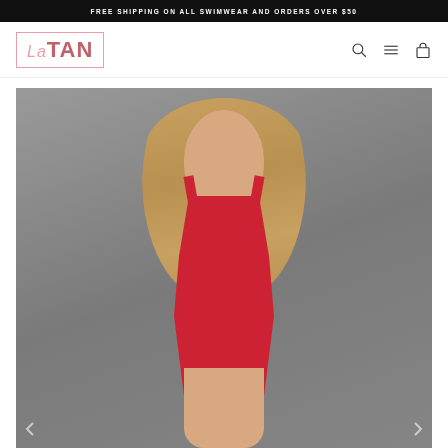FREE SHIPPING ON ALL SWIMWEAR AND ORDERS OVER $50
[Figure (logo): LaTAN brand logo in pink/red color with rectangular border]
[Figure (photo): Blonde female model wearing a red one-piece swimsuit/bodysuit against a grey background, posing with hands on hips]